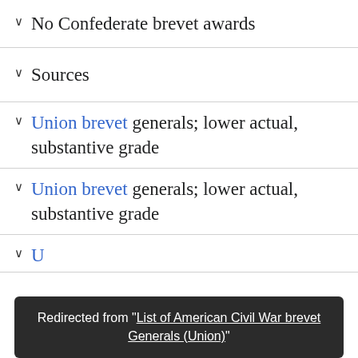∨ No Confederate brevet awards
∨ Sources
∨ Union brevet generals; lower actual, substantive grade
∨ Union brevet generals; lower actual, substantive grade
∨ Union brevet generals; lower actual, substantive grade (partial)
Redirected from "List of American Civil War brevet Generals (Union)"